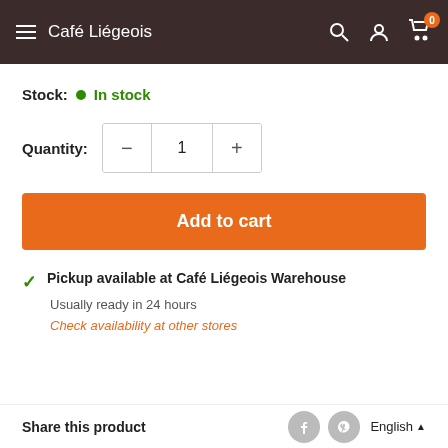Café Liégeois
Stock: ● In stock
Quantity: − 1 +
Add to cart
✓ Pickup available at Café Liégeois Warehouse
Usually ready in 24 hours
Check availability at other stores
Share this product English